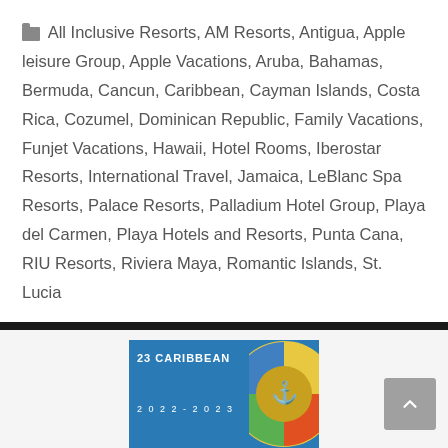All Inclusive Resorts, AM Resorts, Antigua, Apple leisure Group, Apple Vacations, Aruba, Bahamas, Bermuda, Cancun, Caribbean, Cayman Islands, Costa Rica, Cozumel, Dominican Republic, Family Vacations, Funjet Vacations, Hawaii, Hotel Rooms, Iberostar Resorts, International Travel, Jamaica, LeBlanc Spa Resorts, Palace Resorts, Palladium Hotel Group, Playa del Carmen, Playa Hotels and Resorts, Punta Cana, RIU Resorts, Riviera Maya, Romantic Islands, St. Lucia
[Figure (photo): Partial view of a 2022-2023 Caribbean brochure/guide with colorful circular design]